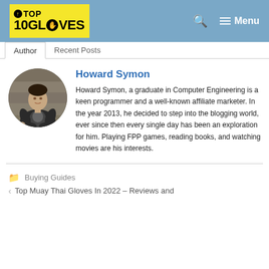Top 10 Gloves — Menu
Author | Recent Posts
Howard Symon
Howard Symon, a graduate in Computer Engineering is a keen programmer and a well-known affiliate marketer. In the year 2013, he decided to step into the blogging world, ever since then every single day has been an exploration for him. Playing FPP games, reading books, and watching movies are his interests.
Buying Guides
Top Muay Thai Gloves In 2022 – Reviews and